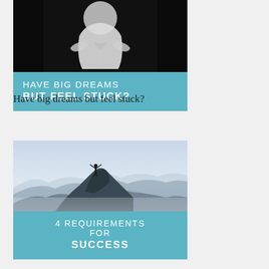[Figure (photo): Black and white photo of a person in a straitjacket or white outfit from behind, arms bound]
HAVE BIG DREAMS BUT FEEL STUCK?
Have big dreams but feel stuck?
[Figure (photo): Photo of a person standing on a mountain peak with arms raised in triumph, misty mountain landscape in background]
4 REQUIREMENTS FOR SUCCESS